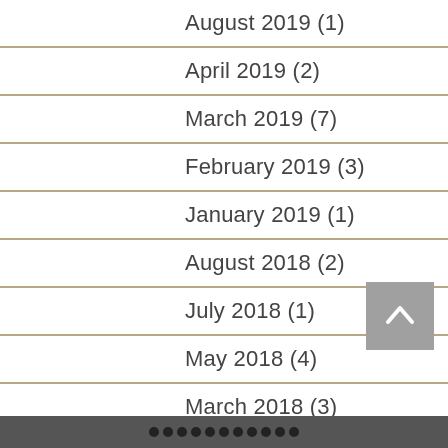August 2019 (1)
April 2019 (2)
March 2019 (7)
February 2019 (3)
January 2019 (1)
August 2018 (2)
July 2018 (1)
May 2018 (4)
March 2018 (3)
February 2018 (1)
November 2017 (1)
May 2017 (3)
April 2017 (2)
March 2017